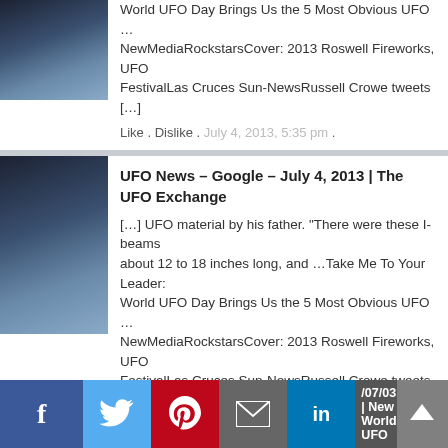World UFO Day Brings Us the 5 Most Obvious UFO … NewMediaRockstarsCover: 2013 Roswell Fireworks, UFO FestivalLas Cruces Sun-NewsRussell Crowe tweets […]
Like . Dislike . July 4, 2013, 5:35 pm .
UFO News – Google – July 4, 2013 | The UFO Exchange
[…] UFO material by his father. "There were these I-beams about 12 to 18 inches long, and …Take Me To Your Leader: World UFO Day Brings Us the 5 Most Obvious UFO … NewMediaRockstarsCover: 2013 Roswell Fireworks, UFO FestivalLas Cruces Sun-NewsRussell Crowe tweets […]
Like . Dislike . July 4, 2013, 10:32 am .
Take Me To Your Leader: World UFO Day Brings Us the 5 Most Obvious UFO … – NewMediaRockstars | The Disclosure Network
[…] Jul 04 2013 No Comment by admin […]
Like . Dislike . July 3, 2013, 5:51 pm .
/07/03 | New World UFO